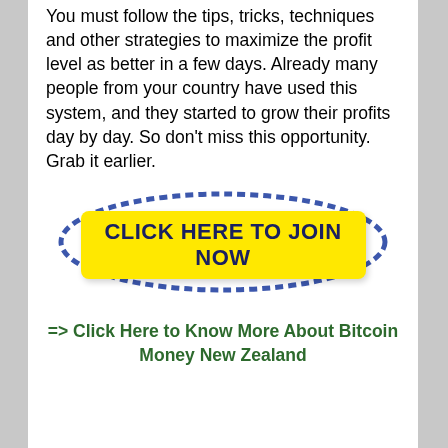You must follow the tips, tricks, techniques and other strategies to maximize the profit level as better in a few days. Already many people from your country have used this system, and they started to grow their profits day by day. So don't miss this opportunity. Grab it earlier.
[Figure (other): Yellow button labeled 'CLICK HERE TO JOIN NOW' surrounded by a blue oval ring border]
=> Click Here to Know More About Bitcoin Money New Zealand